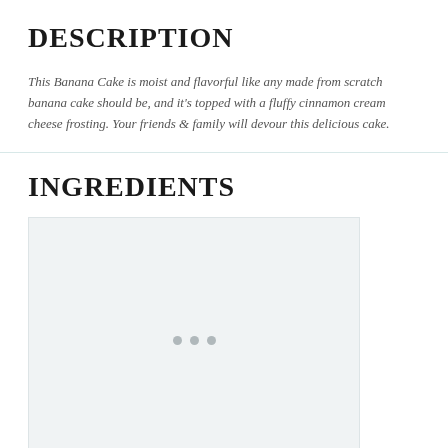DESCRIPTION
This Banana Cake is moist and flavorful like any made from scratch banana cake should be, and it’s topped with a fluffy cinnamon cream cheese frosting.  Your friends & family will devour this delicious cake.
INGREDIENTS
[Figure (photo): Loading placeholder image with grey background and three grey dots in the center]